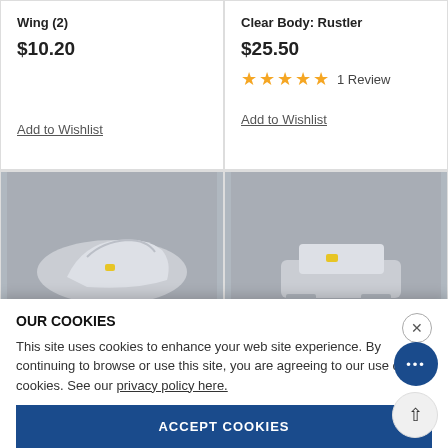Wing (2)
$10.20
Add to Wishlist
Clear Body: Rustler
$25.50
1 Review
Add to Wishlist
[Figure (photo): Product image of a clear plastic RC car body part (left item), with a small yellow label, on gray background. Item code JCO0364L shown below.]
[Figure (photo): Product image of a clear plastic RC car body part (right item), with a small yellow label, on gray background. Item code JCO0416 shown below.]
JCO0364L
JCO0416
OUR COOKIES
This site uses cookies to enhance your web site experience. By continuing to browse or use this site, you are agreeing to our use of cookies. See our privacy policy here.
ACCEPT COOKIES